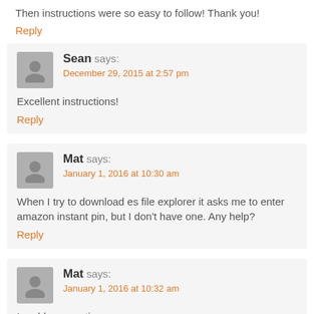Then instructions were so easy to follow! Thank you!
Reply
Sean says:
December 29, 2015 at 2:57 pm
Excellent instructions!
Reply
Mat says:
January 1, 2016 at 10:30 am
When I try to download es file explorer it asks me to enter amazon instant pin, but I don't have one. Any help?
Reply
Mat says:
January 1, 2016 at 10:32 am
In add ons section
Reply